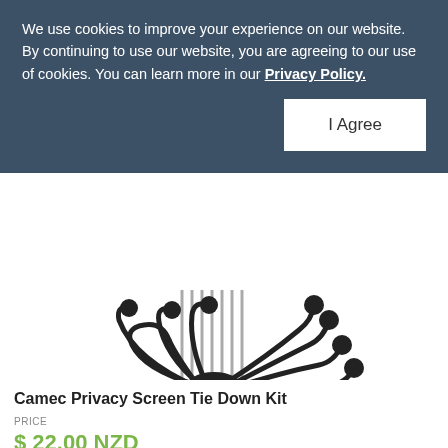We use cookies to improve your experience on our website. By continuing to use our website, you are agreeing to our use of cookies. You can learn more in our Privacy Policy.
I Agree
[Figure (photo): Product photo of Camec Privacy Screen Tie Down Kit showing multiple black bungee cords with ball ends and metal pegs bundled together]
Camec Privacy Screen Tie Down Kit
PRICE
$ 22.00 NZD